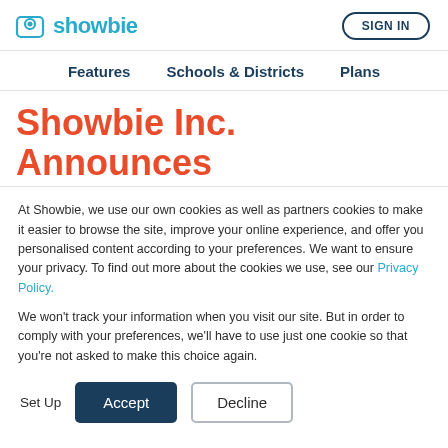showbie | SIGN IN
Features   Schools & Districts   Plans
Showbie Inc. Announces
At Showbie, we use our own cookies as well as partners cookies to make it easier to browse the site, improve your online experience, and offer you personalised content according to your preferences. We want to ensure your privacy. To find out more about the cookies we use, see our Privacy Policy.
We won't track your information when you visit our site. But in order to comply with your preferences, we'll have to use just one cookie so that you're not asked to make this choice again.
Set Up   Accept   Decline